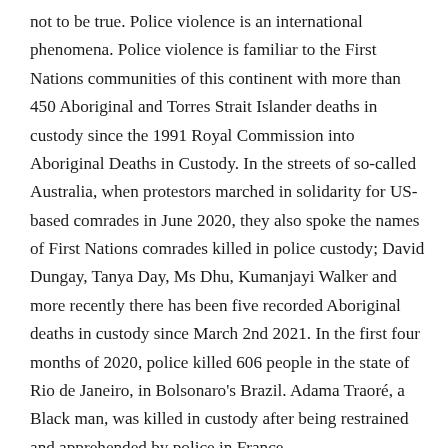not to be true. Police violence is an international phenomena. Police violence is familiar to the First Nations communities of this continent with more than 450 Aboriginal and Torres Strait Islander deaths in custody since the 1991 Royal Commission into Aboriginal Deaths in Custody. In the streets of so-called Australia, when protestors marched in solidarity for US-based comrades in June 2020, they also spoke the names of First Nations comrades killed in police custody; David Dungay, Tanya Day, Ms Dhu, Kumanjayi Walker and more recently there has been five recorded Aboriginal deaths in custody since March 2nd 2021. In the first four months of 2020, police killed 606 people in the state of Rio de Janeiro, in Bolsonaro's Brazil. Adama Traoré, a Black man, was killed in custody after being restrained and apprehended by police in France.